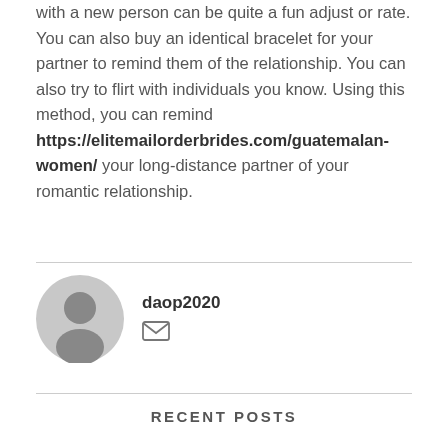with a new person can be quite a fun adjust or rate. You can also buy an identical bracelet for your partner to remind them of the relationship. You can also try to flirt with individuals you know. Using this method, you can remind https://elitemailorderbrides.com/guatemalan-women/ your long-distance partner of your romantic relationship.
daop2020
[Figure (illustration): Generic user avatar — gray circle with silhouette of person]
[Figure (illustration): Envelope/email icon]
RECENT POSTS